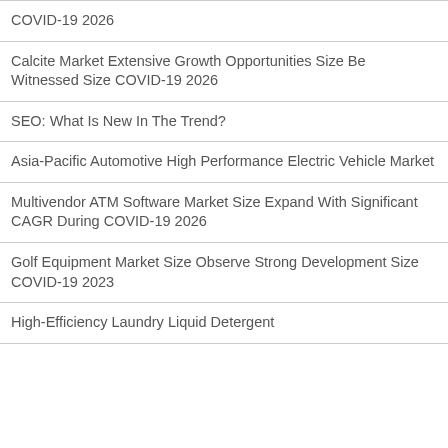COVID-19 2026
Calcite Market Extensive Growth Opportunities Size Be Witnessed Size COVID-19 2026
SEO: What Is New In The Trend?
Asia-Pacific Automotive High Performance Electric Vehicle Market
Multivendor ATM Software Market Size Expand With Significant CAGR During COVID-19 2026
Golf Equipment Market Size Observe Strong Development Size COVID-19 2023
High-Efficiency Laundry Liquid Detergent